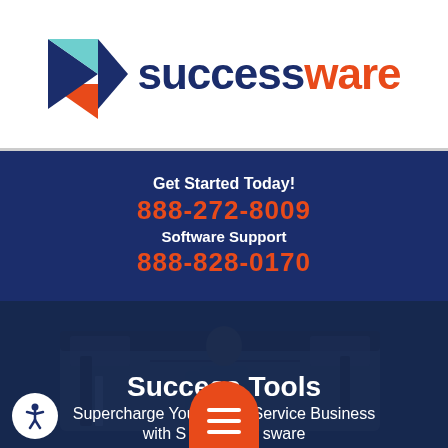[Figure (logo): Successware logo: a red/navy/cyan arrow chevron icon followed by bold text 'success' in dark navy and 'ware' in red/orange]
Get Started Today!
888-272-8009
Software Support
888-828-0170
[Figure (photo): A technician/service worker standing in front of a service van, smiling, wearing a beanie hat and work clothes. Dark blue overlay on top of the photo.]
Success Tools
Supercharge Your Home Service Business
with Successware